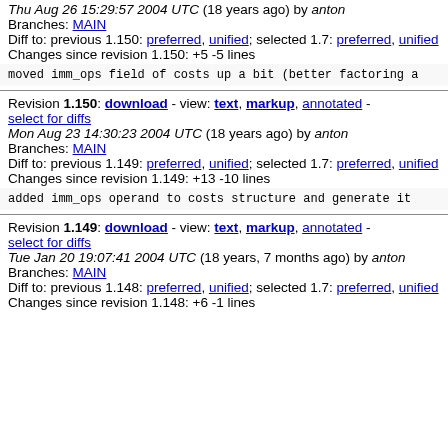Thu Aug 26 15:29:57 2004 UTC (18 years ago) by anton
Branches: MAIN
Diff to: previous 1.150: preferred, unified; selected 1.7: preferred, unified
Changes since revision 1.150: +5 -5 lines
moved imm_ops field of costs up a bit (better factoring a
Revision 1.150: download - view: text, markup, annotated - select for diffs
Mon Aug 23 14:30:23 2004 UTC (18 years ago) by anton
Branches: MAIN
Diff to: previous 1.149: preferred, unified; selected 1.7: preferred, unified
Changes since revision 1.149: +13 -10 lines
added imm_ops operand to costs structure and generate it
Revision 1.149: download - view: text, markup, annotated - select for diffs
Tue Jan 20 19:07:41 2004 UTC (18 years, 7 months ago) by anton
Branches: MAIN
Diff to: previous 1.148: preferred, unified; selected 1.7: preferred, unified
Changes since revision 1.148: +6 -1 lines